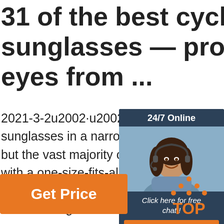31 of the best cycling sunglasses — protect your eyes from ...
2021-3-2u2002·u2002Some manufacture sunglasses in a narrow design or a wome but the vast majority of cycling sunglasses with a one-size-fits-all design. For that rea always a good idea to try some on before choose the glasses with the best fit.
[Figure (infographic): Chat widget with 24/7 Online header, woman with headset photo, 'Click here for free chat!' text, and orange QUOTATION button]
[Figure (other): Orange Get Price button]
[Figure (logo): TOP logo with orange dots in triangle pattern and orange text TOP]